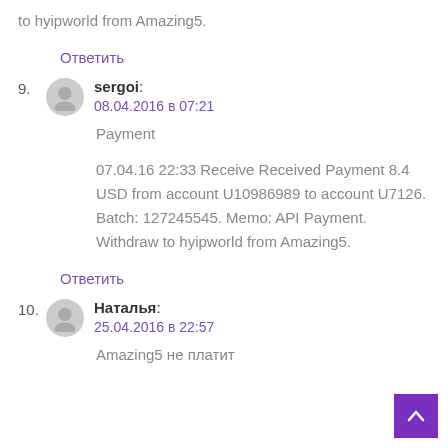to hyipworld from Amazing5.
Ответить
9. sergoi: 08.04.2016 в 07:21
Payment
07.04.16 22:33 Receive Received Payment 8.4 USD from account U10986989 to account U7126. Batch: 127245545. Memo: API Payment. Withdraw to hyipworld from Amazing5.
Ответить
10. Наталья: 25.04.2016 в 22:57
Amazing5 не платит